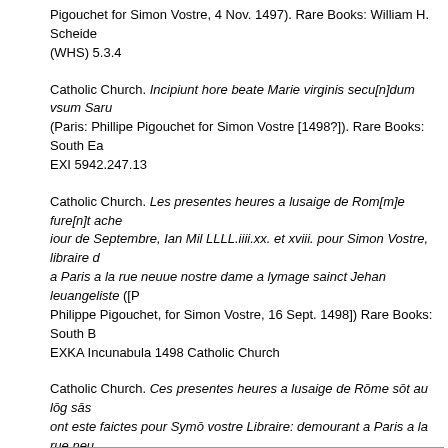Pigouchet for Simon Vostre, 4 Nov. 1497). Rare Books: William H. Scheide (WHS) 5.3.4
Catholic Church. Incipiunt hore beate Marie virginis secu[n]dum vsum Saru (Paris: Phillipe Pigouchet for Simon Vostre [1498?]). Rare Books: South Ea EXI 5942.247.13
Catholic Church. Les presentes heures a lusaige de Rom[m]e fure[n]t ache iour de Septembre, Ian Mil LLLL.iiii.xx. et xviii. pour Simon Vostre, libraire a Paris a la rue neuue nostre dame a lymage sainct Jehan leuangeliste ([P Philippe Pigouchet, for Simon Vostre, 16 Sept. 1498]) Rare Books: South B EXKA Incunabula 1498 Catholic Church
Catholic Church. Ces presentes heures a lusaige de Rōme sōt au lōg sās ont este faictes pour Symō vostre Libraire: demourant a Paris a la rue neu dame a lenseigne sainct Jehan leuangeliste par Philippe pigouchet (Paris: Pigouchet [1502?]). Rare Books (Ex) BX2080 .xA2 1502
See also: Jules Renouvier (1804-1860), Des gravures sur bois dans les liv Simon Vostre libraire d'Heures, par Jules Renouvier; avec un avant-propos Georges Duplessis (Paris: Aubry, 1862). Marquand Library (SA) NE1200.V